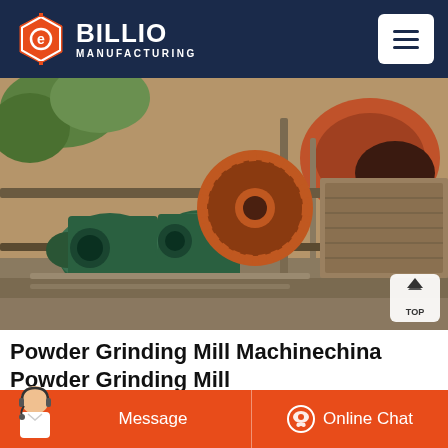[Figure (logo): Billio Manufacturing logo: orange hexagonal gear icon with white 'e' inside, white bold text BILLIO, subtitle MANUFACTURING, on dark navy background. Hamburger menu icon top right.]
[Figure (photo): Industrial powder grinding mill machine with green electric motors, large orange gear wheel, metal framework, rusty components, outdoor industrial setting.]
Powder Grinding Mill Machinechina Powder Grinding Mill
China Powder Grinding Mill Machine - Select 2021 Powder Grinding